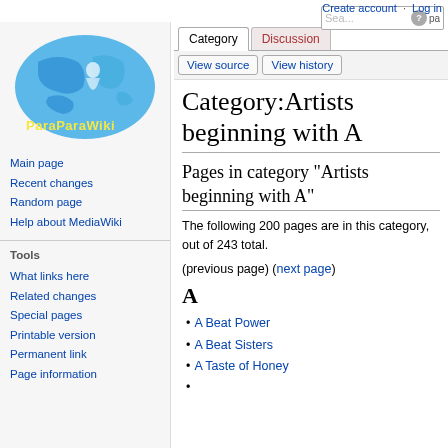Create account  Log in
[Figure (logo): ParaParaWiki logo with globe and text]
Main page
Recent changes
Random page
Help about MediaWiki
Tools
What links here
Related changes
Special pages
Printable version
Permanent link
Page information
Category:Artists beginning with A
Pages in category "Artists beginning with A"
The following 200 pages are in this category, out of 243 total.
(previous page) (next page)
A
A Beat Power
A Beat Sisters
A Taste of Honey